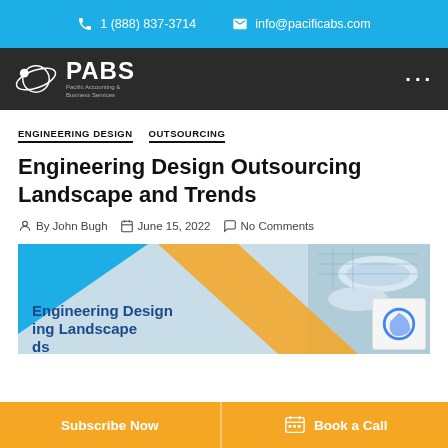1 (888) 837-3714  info@pacificabs.com
[Figure (logo): PABS - Pacific Accounting & Business Services logo on dark navigation bar]
ENGINEERING DESIGN  OUTSOURCING
Engineering Design Outsourcing Landscape and Trends
By John Bugh  June 15, 2022  No Comments
[Figure (photo): Hero image showing engineering blueprints with text overlay: Engineering Design Outsourcing Landscape and Trends]
Subscribe Now  Book a Call